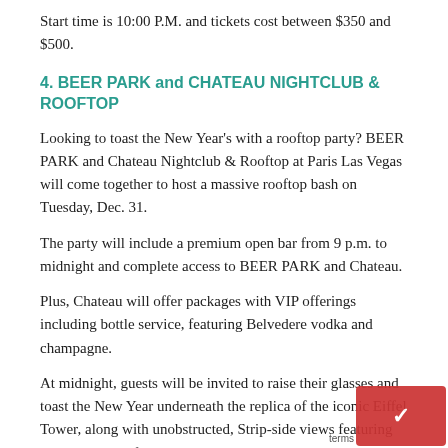Start time is 10:00 P.M. and tickets cost between $350 and $500.
4. BEER PARK and CHATEAU NIGHTCLUB & ROOFTOP
Looking to toast the New Year's with a rooftop party? BEER PARK and Chateau Nightclub & Rooftop at Paris Las Vegas will come together to host a massive rooftop bash on Tuesday, Dec. 31.
The party will include a premium open bar from 9 p.m. to midnight and complete access to BEER PARK and Chateau.
Plus, Chateau will offer packages with VIP offerings including bottle service, featuring Belvedere vodka and champagne.
At midnight, guests will be invited to raise their glasses and toast the New Year underneath the replica of the iconic Eiffel Tower, along with unobstructed, Strip-side views featuring the spectacular fireworks show.
General admission tickets to the New Year's Eve celebration start at $125, while BEER PARK's individual bar seating